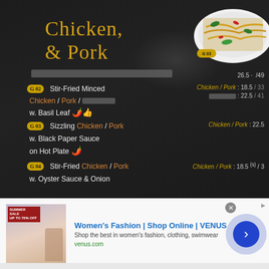Chicken & Pork
G 02 Stir-Fried Minced Chicken / Pork / [redacted] w. Basil Leaf 🌶️👍 — Chicken / Pork : 18.5 / 33 — [redacted] : 22.5 / 41
G 03 Sizzling Chicken / Pork w. Black Paper Sauce on Hot Plate 🌶️ — Chicken / Pork : 22.5
G 04 Stir-Fried Chicken / Pork w. Oyster Sauce & Onion — Chicken / Pork : 18.5 (s) / 3...
[Figure (photo): Advertisement banner for Women's Fashion Shop Online VENUS with thumbnail image showing a woman in summer sale clothing]
Women's Fashion | Shop Online | VENUS
Shop the best in women's fashion, clothing, swimwear
venus.com